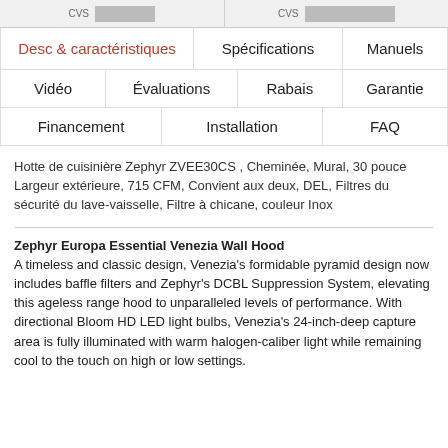CVS  [image] CVS  [image]
| Desc & caractéristiques | Spécifications | Manuels |
| --- | --- | --- |
| Vidéo | Évaluations | Rabais | Garantie |
| Financement | Installation | FAQ |  |
Hotte de cuisinière Zephyr ZVEE30CS , Cheminée, Mural, 30 pouce Largeur extérieure, 715 CFM, Convient aux deux, DEL, Filtres du sécurité du lave-vaisselle, Filtre à chicane, couleur Inox
Zephyr Europa Essential Venezia Wall Hood
A timeless and classic design, Venezia's formidable pyramid design now includes baffle filters and Zephyr's DCBL Suppression System, elevating this ageless range hood to unparalleled levels of performance. With directional Bloom HD LED light bulbs, Venezia's 24-inch-deep capture area is fully illuminated with warm halogen-caliber light while remaining cool to the touch on high or low settings.